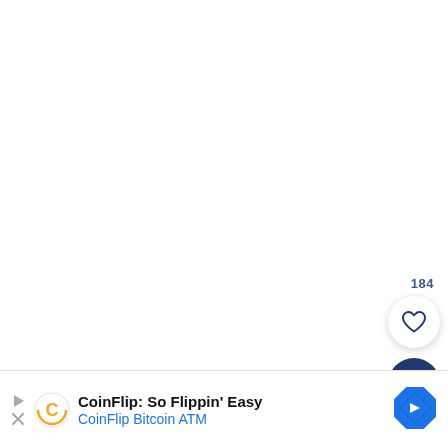184
[Figure (other): Heart (like) button - white circular button with dark blue heart outline icon and like count 184 above it]
[Figure (other): Search button - dark navy blue circular button with white magnifying glass icon]
[Figure (other): Advertisement bar at bottom: CoinFlip Bitcoin ATM ad with play/close icons, CoinFlip logo, text 'CoinFlip: So Flippin Easy' and 'CoinFlip Bitcoin ATM', and a blue diamond navigation arrow icon]